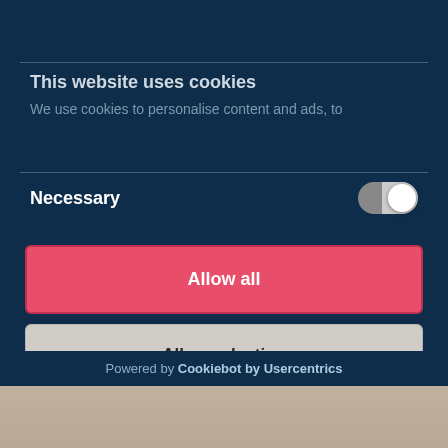This website uses cookies
We use cookies to personalise content and ads, to
Necessary
Allow all
Allow selection
Deny
Powered by Cookiebot by Usercentrics